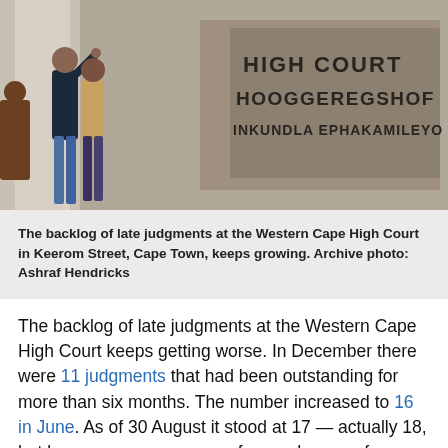[Figure (photo): Two people standing on steps in front of a large stone building. A granite sign on the building reads: HIGH COURT / HOOGGEREGSHOF / INKUNDLA EPHAKAMILEYO]
The backlog of late judgments at the Western Cape High Court in Keerom Street, Cape Town, keeps growing. Archive photo: Ashraf Hendricks
The backlog of late judgments at the Western Cape High Court keeps getting worse. In December there were 11 judgments that had been outstanding for more than six months. The number increased to 16 in June. As of 30 August it stood at 17 — actually 18, but because we are aware of a good reason for